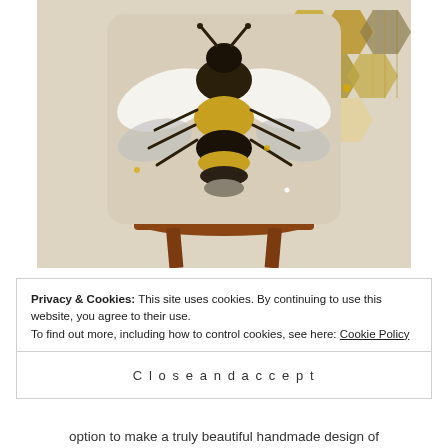[Figure (photo): A decorative cushion/pillow featuring an embroidered bee design with honeycomb pattern in gold, black, and silver tones, displayed on a wooden stool against a light background.]
Privacy & Cookies: This site uses cookies. By continuing to use this website, you agree to their use.
To find out more, including how to control cookies, see here: Cookie Policy
Close and accept
option to make a truly beautiful handmade design of